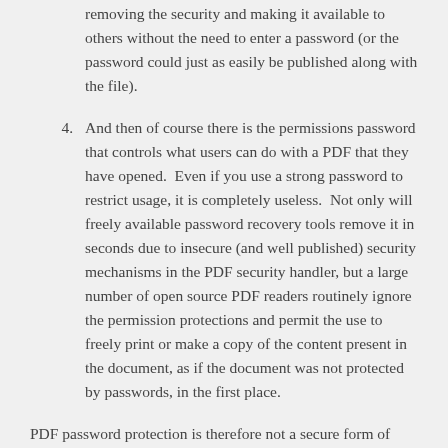completely compromise the security of the PDF file, removing the security and making it available to others without the need to enter a password (or the password could just as easily be published along with the file).
4. And then of course there is the permissions password that controls what users can do with a PDF that they have opened.  Even if you use a strong password to restrict usage, it is completely useless.  Not only will freely available password recovery tools remove it in seconds due to insecure (and well published) security mechanisms in the PDF security handler, but a large number of open source PDF readers routinely ignore the permission protections and permit the use to freely print or make a copy of the content present in the document, as if the document was not protected by passwords, in the first place.
PDF password protection is therefore not a secure form of protection for sensitive information that must be tightly controlled.